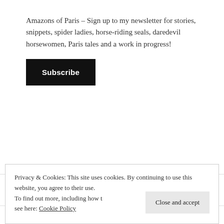Amazons of Paris – Sign up to my newsletter for stories, snippets, spider ladies, horse-riding seals, daredevil horsewomen, Paris tales and a work in progress!
Subscribe
Indonesia (1)
Iran (3)
Iraq (1)
Privacy & Cookies: This site uses cookies. By continuing to use this website, you agree to their use. To find out more, including how to control cookies, see here: Cookie Policy
Close and accept
Israel (2)